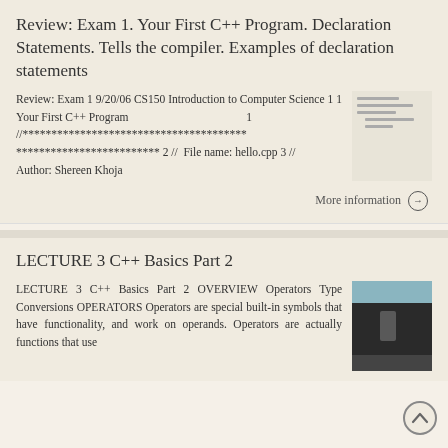Review: Exam 1. Your First C++ Program. Declaration Statements. Tells the compiler. Examples of declaration statements
Review: Exam 1 9/20/06 CS150 Introduction to Computer Science 1 1 Your First C++ Program 1 //*************************************** ************************* 2 // File name: hello.cpp 3 // Author: Shereen Khoja
[Figure (illustration): Thumbnail image of document with text lines]
More information →
LECTURE 3 C++ Basics Part 2
LECTURE 3 C++ Basics Part 2 OVERVIEW Operators Type Conversions OPERATORS Operators are special built-in symbols that have functionality, and work on operands. Operators are actually functions that use
[Figure (screenshot): Dark thumbnail image of a presentation slide with teal/blue top bar]